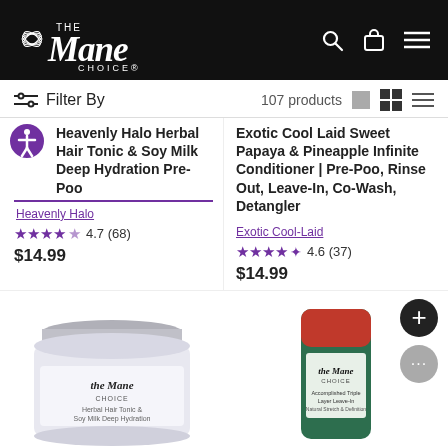The Mane Choice
Filter By   107 products
Heavenly Halo Herbal Hair Tonic & Soy Milk Deep Hydration Pre-Poo
Heavenly Halo
★★★★ 4.7 (68)
$14.99
Exotic Cool Laid Sweet Papaya & Pineapple Infinite Conditioner | Pre-Poo, Rinse Out, Leave-In, Co-Wash, Detangler
Exotic Cool-Laid
★★★★½ 4.6 (37)
$14.99
[Figure (photo): Product jar - The Mane Choice Herbal Hair Tonic & Soy Milk Deep Hydration Pre-Poo]
[Figure (photo): Product tube - The Mane Choice Accomplished Triple Layer Leave-In with red and green packaging]